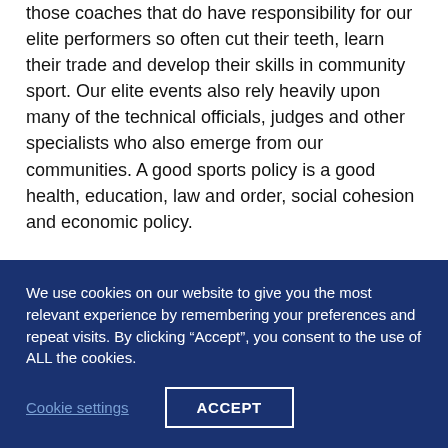those coaches that do have responsibility for our elite performers so often cut their teeth, learn their trade and develop their skills in community sport. Our elite events also rely heavily upon many of the technical officials, judges and other specialists who also emerge from our communities. A good sports policy is a good health, education, law and order, social cohesion and economic policy.
And yet, all too often our politicians fail to recognise this connection. The Covid-19 pandemic has exacerbated this. The decision to close so many community-based sports
We use cookies on our website to give you the most relevant experience by remembering your preferences and repeat visits. By clicking “Accept”, you consent to the use of ALL the cookies.